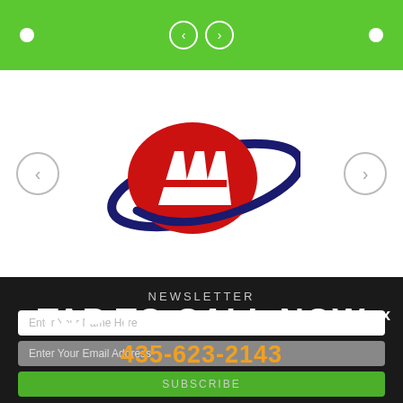[Figure (screenshot): Green navigation bar at top with left/right arrow circles and two white dots on sides]
[Figure (logo): AAA (American Automobile Association) logo with red triple-A letters inside an oval ring and dark blue swoosh orbit around it]
NEWSLETTER
Enter Your Name Here
Enter Your Email Address
SUBSCRIBE
TAP TO CALL NOW
435-623-2143